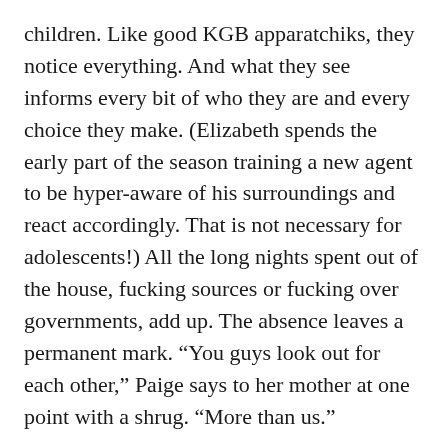children. Like good KGB apparatchiks, they notice everything. And what they see informs every bit of who they are and every choice they make. (Elizabeth spends the early part of the season training a new agent to be hyper-aware of his surroundings and react accordingly. That is not necessary for adolescents!) All the long nights spent out of the house, fucking sources or fucking over governments, add up. The absence leaves a permanent mark. “You guys look out for each other,” Paige says to her mother at one point with a shrug. “More than us.”
Rhys and Russell play this friction masterfully; his face is the crown of a volcano, hers is the tip of an iceberg. When Elizabeth goes to church with Paige, Phillip erupts: “You’re assessing her!” “I don’t know what you’re talking about,” Elizabeth replies. “She’s my daughter.” You’ll forgive me if I don’t see the distinction. Every household is as complicated